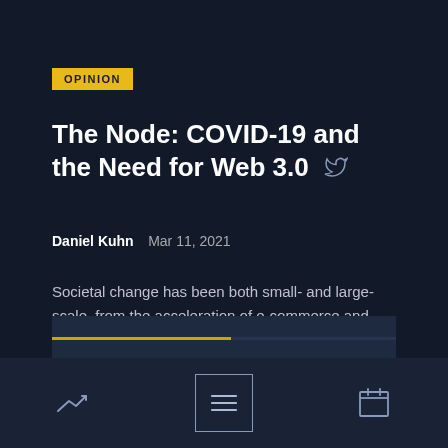OPINION
The Node: COVID-19 and the Need for Web 3.0
Daniel Kuhn  Mar 11, 2021
Societal change has been both small- and large-scale, from the acceleration of e-commerce and work from home to the loss of trust in experts and institutions.